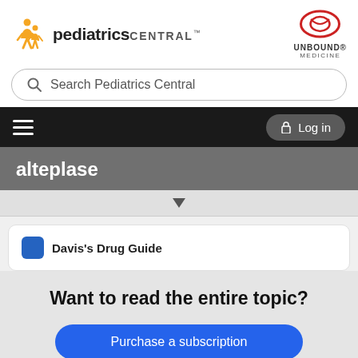[Figure (logo): Pediatrics Central logo with orange figures icon on left and Unbound Medicine oval logo on right]
Search Pediatrics Central
[Figure (screenshot): Black navigation bar with hamburger menu icon on left and gray Log in button with lock icon on right]
alteplase
[Figure (screenshot): Gray dropdown arrow bar below drug name header]
Davis's Drug Guide
Want to read the entire topic?
Purchase a subscription
I'm already a subscriber
Browse sample topics